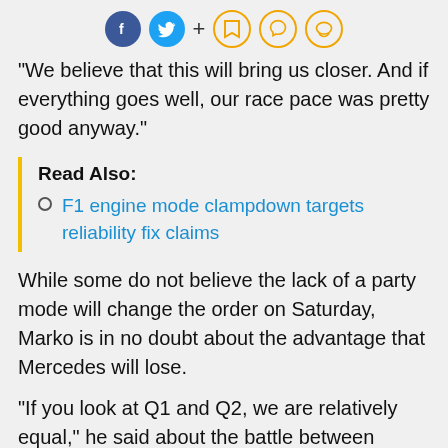[Figure (other): Social media sharing icons: Facebook, Twitter, plus sign, bookmark, Snapchat, chat bubble — rendered as icon buttons]
"We believe that this will bring us closer. And if everything goes well, our race pace was pretty good anyway."
Read Also:
F1 engine mode clampdown targets reliability fix claims
While some do not believe the lack of a party mode will change the order on Saturday, Marko is in no doubt about the advantage that Mercedes will lose.
"If you look at Q1 and Q2, we are relatively equal," he said about the battle between Mercedes and Red Bull-Honda.